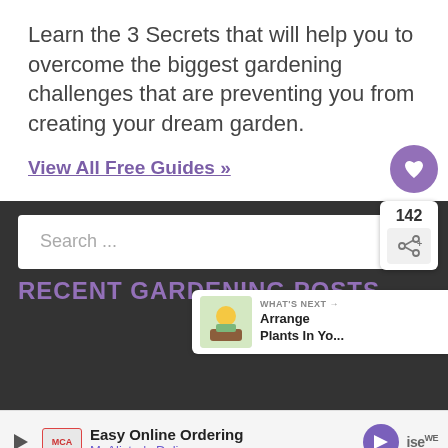Learn the 3 Secrets that will help you to overcome the biggest gardening challenges that are preventing you from creating your dream garden.
View All Free Guides »
[Figure (screenshot): Dark background section with a white search bar with placeholder text 'Search ...', a purple heart circle button, a share widget showing 142, a 'What's Next' popup showing 'Arrange Plants In Yo...', and a 'RECENT GARDENING POSTS' heading in purple.]
[Figure (screenshot): Advertisement bar at the bottom showing McAlister's Deli 'Easy Online Ordering' ad with play icon, MCA logo, McAlister's Deli text, navigation arrow icon, and weather logo.]